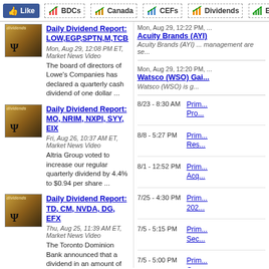Like | BDCs | Canada | CEFs | Dividends | Energy
Daily Dividend Report: LOW,EGP,SPTN,M,TCBK - Mon, Aug 29, 12:08 PM ET, Market News Video - The board of directors of Lowe's Companies has declared a quarterly cash dividend of one dollar ...
Daily Dividend Report: MO, NRIM, NXPI, SYY, EIX - Fri, Aug 26, 10:37 AM ET, Market News Video - Altria Group voted to increase our regular quarterly dividend by 4.4% to $0.94 per share ...
Daily Dividend Report: TD, CM, NVDA, DG, EFX - Thu, Aug 25, 11:39 AM ET, Market News Video - The Toronto Dominion Bank announced that a dividend in an amount of eighty nine ...
more videos »
Mon, Aug 29, 12:22 PM, ... Acuity Brands (AYI) ... Acuity Brands (AYI) ... management are se...
Mon, Aug 29, 12:20 PM, ... Watsco (WSO) Gai... Watsco (WSO) is g...
8/23 - 8:30 AM   Prim... Pro...
8/8 - 5:27 PM   Prim... Res...
8/1 - 12:52 PM   Prim... Acq...
7/25 - 4:30 PM   Prim... 202...
7/5 - 5:15 PM   Prim... Sec...
7/5 - 5:00 PM   Prim... Ove...
6/28 - 1:21 PM   Equ... Inve...